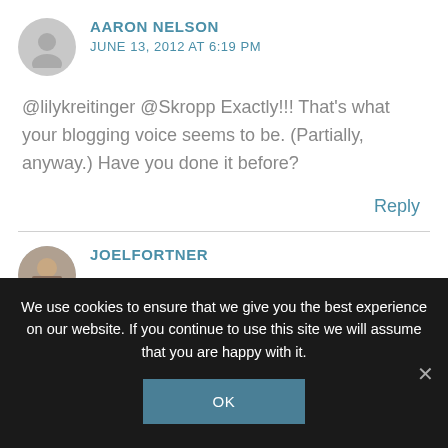AARON NELSON
JUNE 13, 2012 AT 6:19 PM
@lilykreitinger @Skropp Exactly!!! That's what your blogging voice seems to be. (Partially, anyway.) Have you done it before?
Reply
JOELFORTNER
We use cookies to ensure that we give you the best experience on our website. If you continue to use this site we will assume that you are happy with it.
OK